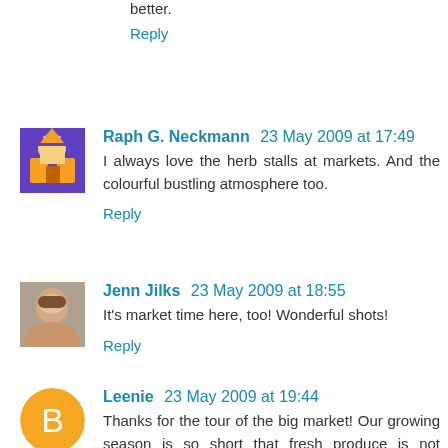better.
Reply
Raph G. Neckmann 23 May 2009 at 17:49
I always love the herb stalls at markets. And the colourful bustling atmosphere too.
Reply
Jenn Jilks 23 May 2009 at 18:55
It's market time here, too! Wonderful shots!
Reply
Leenie 23 May 2009 at 19:44
Thanks for the tour of the big market! Our growing season is so short that fresh produce is not available for long. So the Farmers Markets are not large. We visited an indoor one in Oaxaca, Mexico that had a great variety of produce